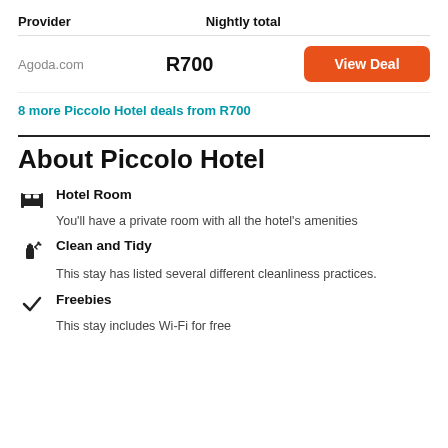| Provider | Nightly total |  |
| --- | --- | --- |
| Agoda.com | R700 | View Deal |
8 more Piccolo Hotel deals from R700
About Piccolo Hotel
Hotel Room
You'll have a private room with all the hotel's amenities
Clean and Tidy
This stay has listed several different cleanliness practices.
Freebies
This stay includes Wi-Fi for free